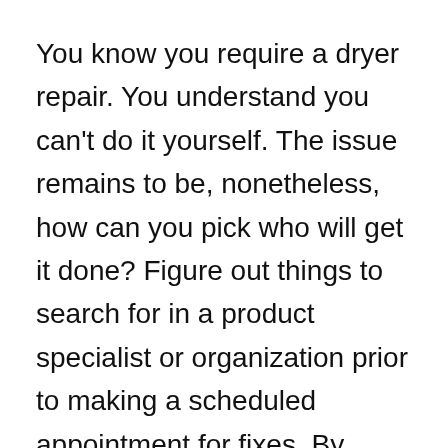You know you require a dryer repair. You understand you can't do it yourself. The issue remains to be, nonetheless, how can you pick who will get it done? Figure out things to search for in a product specialist or organization prior to making a scheduled appointment for fixes. By doing a little analyzing before hand, you may make the whole maintenance method much softer.
If you're going into your quest process blind, the first steps you can take is to find product specialists or fix businesses that are certified